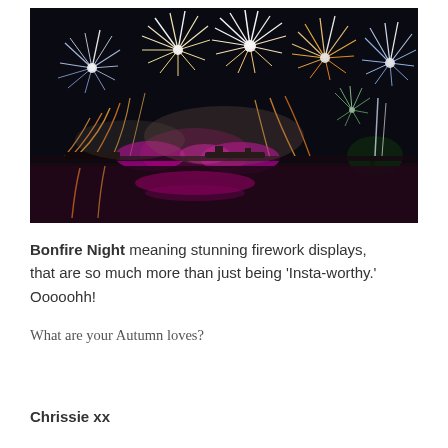[Figure (photo): Night-time fireworks display over water with colourful explosions reflected in the river below. Multiple large firework bursts in white, blue, orange and pink against a dark sky, with pink stage lights and a crowd/barge silhouetted on the water.]
Bonfire Night meaning stunning firework displays, that are so much more than just being 'Insta-worthy.' Ooooohh!
What are your Autumn loves?
Chrissie xx